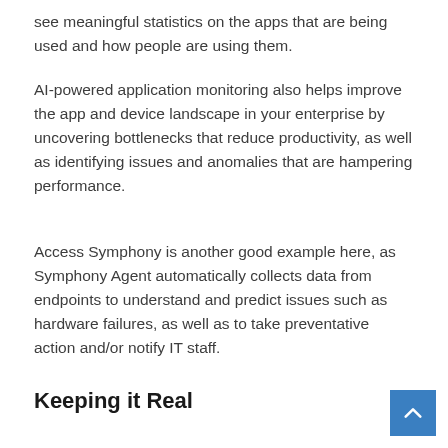see meaningful statistics on the apps that are being used and how people are using them.
AI-powered application monitoring also helps improve the app and device landscape in your enterprise by uncovering bottlenecks that reduce productivity, as well as identifying issues and anomalies that are hampering performance.
Access Symphony is another good example here, as Symphony Agent automatically collects data from endpoints to understand and predict issues such as hardware failures, as well as to take preventative action and/or notify IT staff.
Keeping it Real